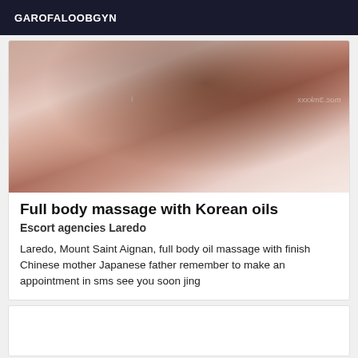GAROFALOOBGYN
[Figure (photo): Blurred photo of a person, partially visible, used as a listing image]
Full body massage with Korean oils
Escort agencies Laredo
Laredo, Mount Saint Aignan, full body oil massage with finish Chinese mother Japanese father remember to make an appointment in sms see you soon jing